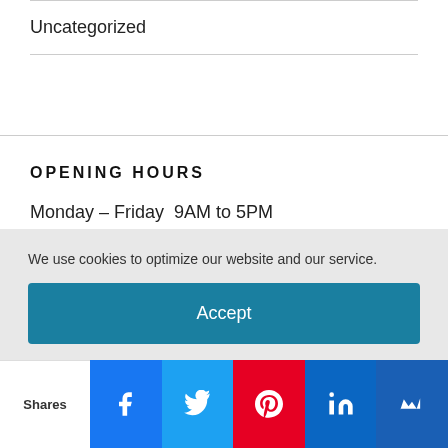Uncategorized
OPENING HOURS
Monday – Friday  9AM to 5PM
We use cookies to optimize our website and our service.
Accept
Shares | Facebook | Twitter | Pinterest | LinkedIn | Bloglovin